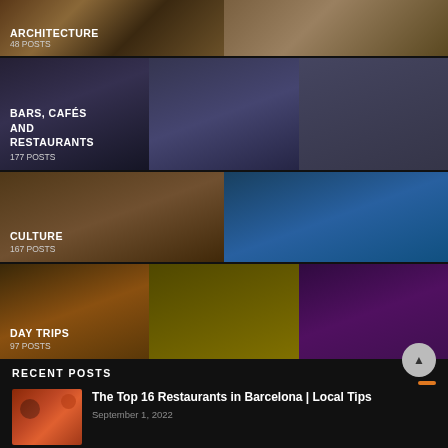[Figure (photo): Architecture category banner with food photo background, showing 48 POSTS]
[Figure (photo): Bars, Cafés and Restaurants category banner with historic building photos, showing 177 POSTS]
[Figure (photo): Culture category banner with coastal town aerial photo, showing 167 POSTS]
[Figure (photo): Day Trips category banner with evening outdoor event photo, showing 97 POSTS]
RECENT POSTS
[Figure (photo): Thumbnail image of pizza]
The Top 16 Restaurants in Barcelona | Local Tips
September 1, 2022